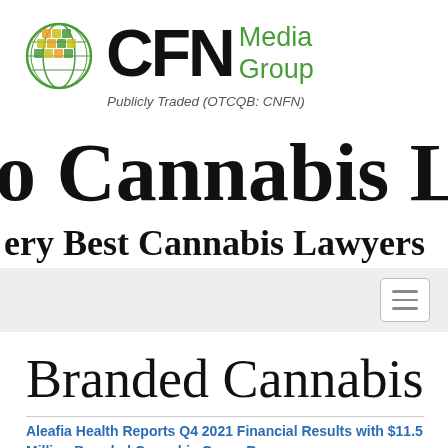[Figure (logo): CFN Media Group logo with globe icon and green 'Media Group' text, with 'Publicly Traded (OTCQB: CNFN)' subtitle]
o Cannabis Lawyers
ery Best Cannabis Lawyers
[Figure (screenshot): Navigation bar with hamburger menu icon on right]
Branded Cannabis
Aleafia Health Reports Q4 2021 Financial Results with $11.5 Million Branded Cannabis Gross Revenue,